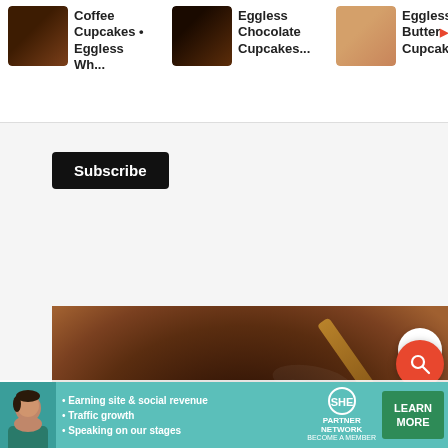[Figure (screenshot): Recipe website screenshot showing carousel of cupcake images at top (Coffee Cupcakes, Eggless Chocolate Cupcakes, Eggless Buttercream Cupcakes), a Subscribe button, a large photo of chocolate cake batter being mixed in a bowl with a spatula, floating action buttons (scroll up, heart/save, search), close X button, caption 'mix well', and SHE Partner Network advertisement banner at bottom.]